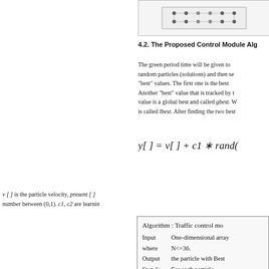[Figure (other): Small diagram showing a traffic grid/intersection layout with dots and lines]
4.2. The Proposed Control Module Alg...
The green period time will be given to random particles (solutions) and then set "best" values. The first one is the best Another "best" value that is tracked by t value is a global best and called gbest. W is called lbest. After finding the two best
v [ ] is the particle velocity, present [ ] number between (0,1). c1, c2 are learn
[Figure (other): Algorithm box: Traffic control module algorithm with Input, Output, and Step 1 listed]